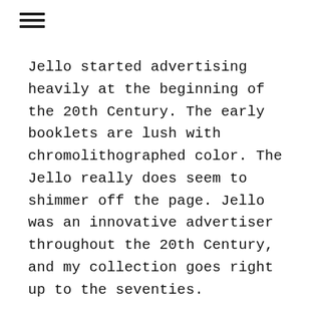≡
Jello started advertising heavily at the beginning of the 20th Century. The early booklets are lush with chromolithographed color. The Jello really does seem to shimmer off the page. Jello was an innovative advertiser throughout the 20th Century, and my collection goes right up to the seventies.
My collection will stay intact and is